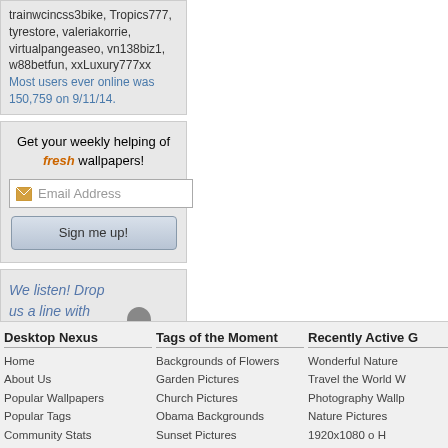trainwcincss3bike, Tropics777, tyrestore, valeriakorrie, virtualpangeaseo, vn138biz1, w88betfun, xxLuxury777xx
Most users ever online was 150,759 on 9/11/14.
Get your weekly helping of fresh wallpapers!
[Figure (infographic): Email signup box with envelope icon and Email Address placeholder text, and a Sign me up! button]
[Figure (infographic): Feedback box with blue italic text 'We listen! Drop us a line with your thoughts, comments, or feedback!' and a black and white illustration of a man with a megaphone]
[Figure (infographic): Support This Site button with a heart icon on gradient background]
Desktop Nexus
Home
About Us
Popular Wallpapers
Popular Tags
Community Stats
Tags of the Moment
Backgrounds of Flowers
Garden Pictures
Church Pictures
Obama Backgrounds
Sunset Pictures
Recently Active G
Wonderful Nature
Travel the World W
Photography Wallp
Nature Pictures
1920x1080 o H